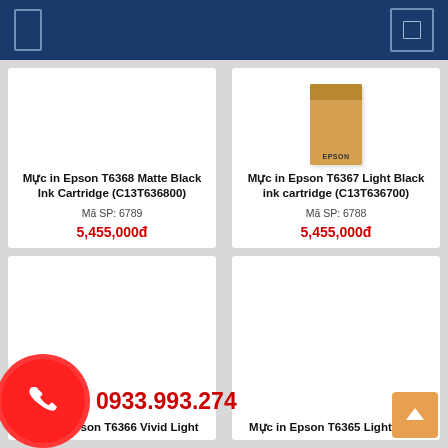Navigation header with menu icon and cart icon
Mực in Epson T6368 Matte Black Ink Cartridge (C13T636800)
Mã SP: 6789
5,455,000đ
Mực in Epson T6367 Light Black ink cartridge (C13T636700)
Mã SP: 6788
5,455,000đ
Mực in Epson T6366 Vivid Light
Mực in Epson T6365 Light Cyan
0933.993.274